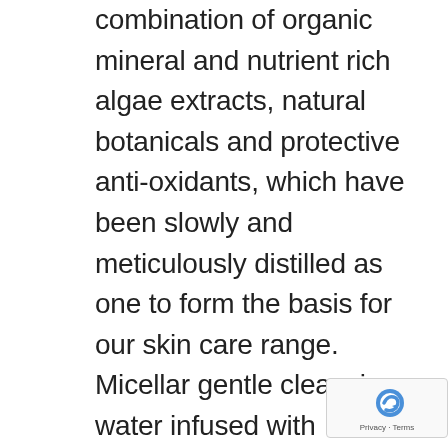combination of organic mineral and nutrient rich algae extracts, natural botanicals and protective anti-oxidants, which have been slowly and meticulously distilled as one to form the basis for our skin care range. Micellar gentle cleansing water infused with precious marine & plant essences, immerse the skin with proteins, vitamins & anti-oxidants to condition and preserve the skins natural moisture balance. Dissolves makeup from face, lips & delicate eye area. Removes impurities, unclogs pores and tones, leaving your skin soft, cleansed and